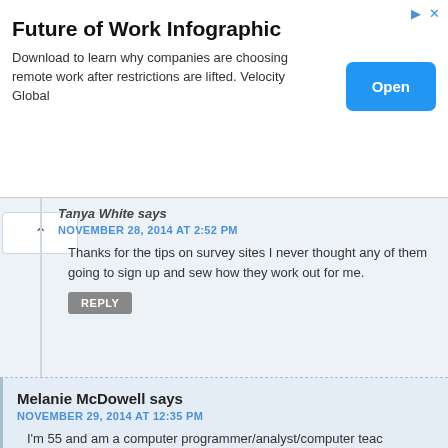[Figure (infographic): Advertisement banner: Future of Work Infographic. Text: Download to learn why companies are choosing remote work after restrictions are lifted. Velocity Global. Button: Open]
Tanya White says
NOVEMBER 28, 2014 AT 2:52 PM
Thanks for the tips on survey sites I never thought any of them going to sign up and sew how they work out for me.
REPLY
Melanie McDowell says
NOVEMBER 29, 2014 AT 12:35 PM
I'm 55 and am a computer programmer/analyst/computer teac profession, but the last few years, I have been working with ch program. Not much money, but BIG Benefits of the heart-type! these work at home jobs for a tad of extra money, tho! Can't w some real scams over the years, tho, just a bit skeptical, but h
REPLY